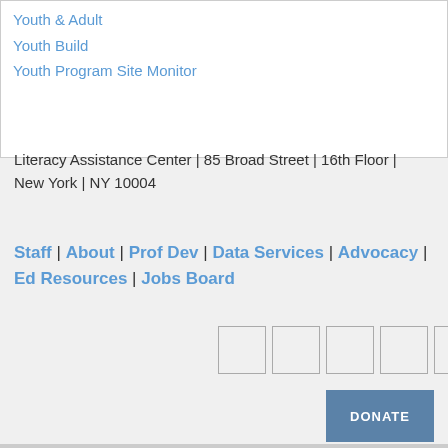Youth & Adult
Youth Build
Youth Program Site Monitor
Literacy Assistance Center | 85 Broad Street | 16th Floor | New York | NY 10004
Staff | About | Prof Dev | Data Services | Advocacy | Ed Resources | Jobs Board
[Figure (other): Five social media icon placeholder boxes arranged horizontally]
DONATE